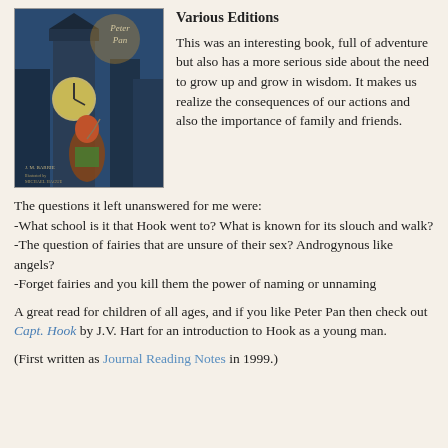[Figure (photo): Book cover of Peter Pan by J.M. Barrie, illustrated by Michael Hague. Shows Peter Pan near a clock tower with warm blue and orange tones.]
Various Editions
This was an interesting book, full of adventure but also has a more serious side about the need to grow up and grow in wisdom. It makes us realize the consequences of our actions and also the importance of family and friends.
The questions it left unanswered for me were:
-What school is it that Hook went to? What is known for its slouch and walk?
-The question of fairies that are unsure of their sex? Androgynous like angels?
-Forget fairies and you kill them the power of naming or unnaming
A great read for children of all ages, and if you like Peter Pan then check out Capt. Hook by J.V. Hart for an introduction to Hook as a young man.
(First written as Journal Reading Notes in 1999.)